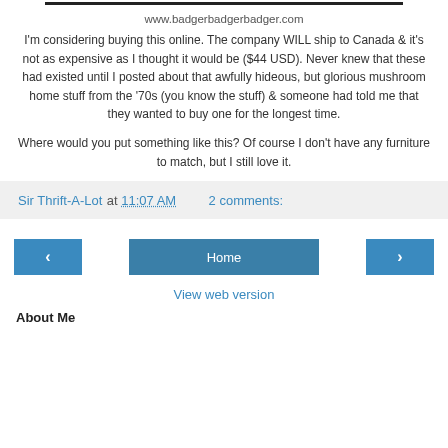www.badgerbadgerbadger.com
I'm considering buying this online. The company WILL ship to Canada & it's not as expensive as I thought it would be ($44 USD). Never knew that these had existed until I posted about that awfully hideous, but glorious mushroom home stuff from the ‘70s (you know the stuff) & someone had told me that they wanted to buy one for the longest time.
Where would you put something like this? Of course I don’t have any furniture to match, but I still love it.
Sir Thrift-A-Lot at 11:07 AM   2 comments:
Home
View web version
About Me